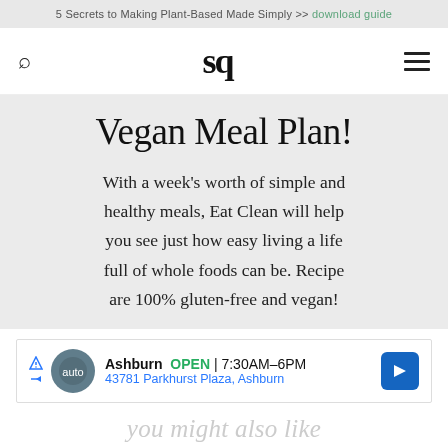5 Secrets to Making Plant-Based Made Simply >> download guide
[Figure (logo): SQ logo navigation bar with search icon and hamburger menu]
Vegan Meal Plan!
With a week's worth of simple and healthy meals, Eat Clean will help you see just how easy living a life full of whole foods can be. Recipe are 100% gluten-free and vegan!
[Figure (infographic): Advertisement: Ashburn OPEN 7:30AM-6PM, 43781 Parkhurst Plaza, Ashburn - Tires Plus Auto]
you might also like